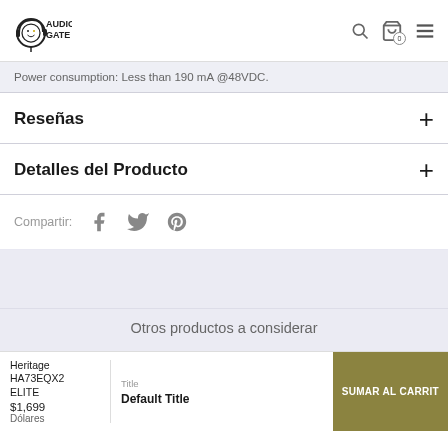Audio Gate — logo, search, cart (0), menu
Power consumption: Less than 190 mA @48VDC.
Reseñas
Detalles del Producto
Compartir:
Otros productos a considerar
Heritage HA73EQX2 ELITE
$1,699
Dólares
Title
Default Title
SUMAR AL CARRIT